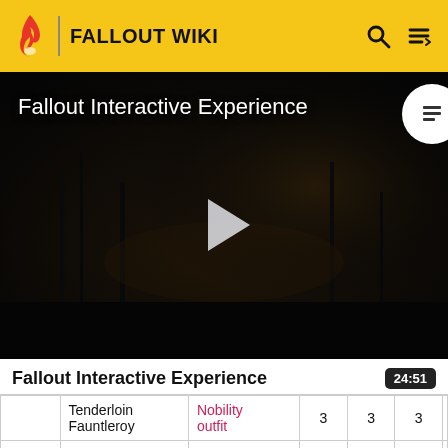FALLOUT WIKI
[Figure (screenshot): Fallout Wiki video thumbnail showing a dark post-apocalyptic scene with 'Fallout Interactive Experience' title, a play button in the center, and a table of contents icon in the top right corner.]
Fallout Interactive Experience
| Tenderloin Fauntleroy | Nobility outfit | 3 | 3 | 3 |  |
| Tina Wrenchley | Engineer outfit | 4 | 3 | 4 |  |